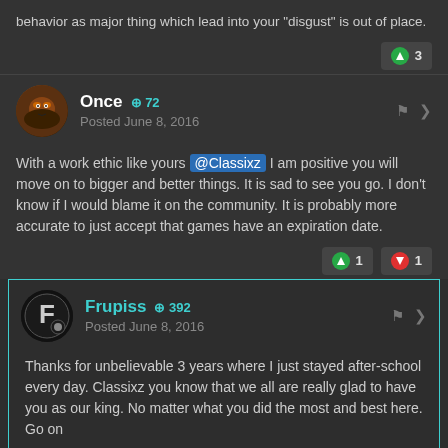behavior as major thing which lead into your "disgust" is out of place.
Once +72 Posted June 8, 2016
With a work ethic like yours @Classixz I am positive you will move on to bigger and better things. It is sad to see you go. I don't know if I would blame it on the community. It is probably more accurate to just accept that games have an expiration date.
Frupiss +392 Posted June 8, 2016
Thanks for unbelievable 3 years where I just stayed after-school every day. Classixz you know that we all are really glad to have you as our king. No matter what you did the most and best here. Go on